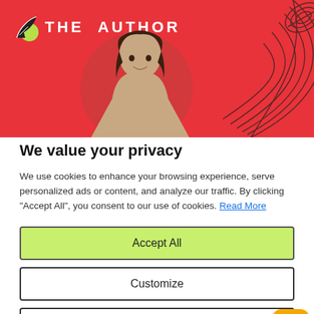[Figure (screenshot): Hero banner with red background showing 'THE AUTHOR' logo with a feather/leaf icon, a woman's portrait photo, and decorative leaf line art on the right side.]
We value your privacy
We use cookies to enhance your browsing experience, serve personalized ads or content, and analyze our traffic. By clicking "Accept All", you consent to our use of cookies. Read More
Accept All
Customize
Reject All